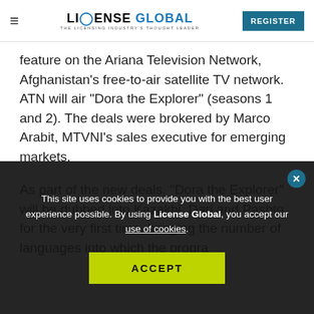LICENSE GLOBAL — THE LICENSING INDUSTRY'S THOUGHT LEADER | REGISTER
feature on the Ariana Television Network, Afghanistan's free-to-air satellite TV network. ATN will air "Dora the Explorer" (seasons 1 and 2). The deals were brokered by Marco Arabit, MTVNI's sales executive for emerging markets.
As part of the new deals, "Dora the Explorer" will be dubbed into Kazakhi, Dari and Pashto for the very first time, bringing the number of languages into which the progra…
This site uses cookies to provide you with the best user experience possible. By using License Global, you accept our use of cookies.